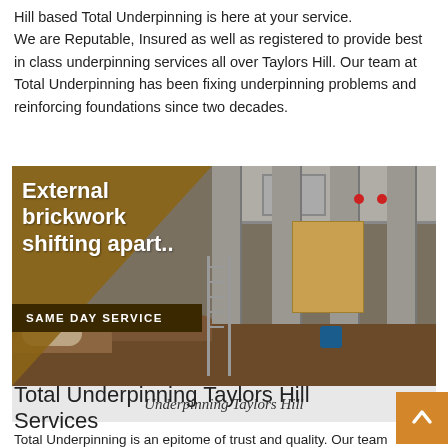Hill based Total Underpinning is here at your service. We are Reputable, Insured as well as registered to provide best in class underpinning services all over Taylors Hill. Our team at Total Underpinning has been fixing underpinning problems and reinforcing foundations since two decades.
[Figure (photo): Construction site photo showing concrete underpinning pillars with excavated foundation pits. Overlaid with a gold diagonal banner reading 'External brickwork shifting apart..' and a dark bar reading 'SAME DAY SERVICE'.]
Underpinning Taylors Hill
Total Underpinning Taylors Hill Services
Total Underpinning is an epitome of trust and quality. Our team